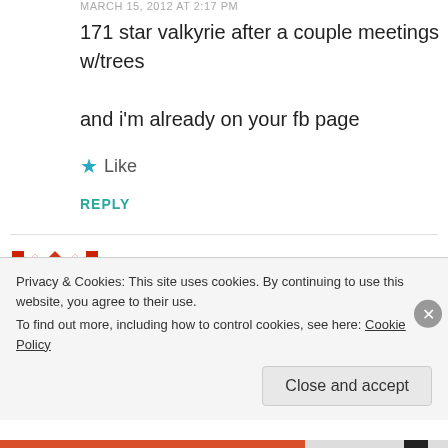MARCH 15, 2012 AT 2:17 PM
171 star valkyrie after a couple meetings w/trees

and i'm already on your fb page
★ Like
REPLY
Bandit
Privacy & Cookies: This site uses cookies. By continuing to use this website, you agree to their use.
To find out more, including how to control cookies, see here: Cookie Policy